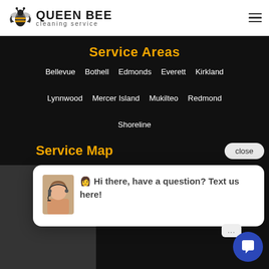[Figure (logo): Queen Bee Cleaning Service logo with bee icon and text]
Service Areas
Bellevue  Bothell  Edmonds  Everett  Kirkland
Lynnwood  Mercer Island  Mukilteo  Redmond
Shoreline
Service Map
close
👩 Hi there, have a question? Text us here!